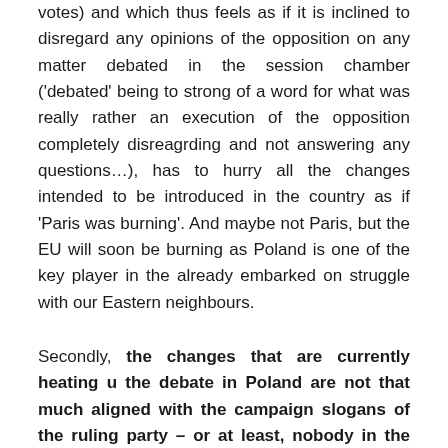votes) and which thus feels as if it is inclined to disregard any opinions of the opposition on any matter debated in the session chamber ('debated' being to strong of a word for what was really rather an execution of the opposition completely disreagrding and not answering any questions…), has to hurry all the changes intended to be introduced in the country as if 'Paris was burning'. And maybe not Paris, but the EU will soon be burning as Poland is one of the key player in the already embarked on struggle with our Eastern neighbours.
Secondly, the changes that are currently heating u the debate in Poland are not that much aligned with the campaign slogans of the ruling party – or at least, nobody in the government except for the voters and the opposition (and maybe President Duda who still believes they will miraculously come true) remembers them right now. After all, there are much more vital changes than supporting families (the infamous 'PLN 500 for each child' program) or helping people pay less in taxes (the well-